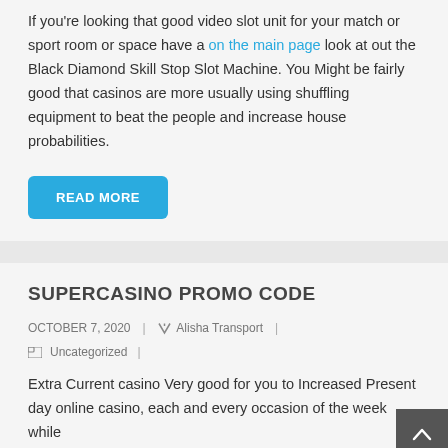If you're looking that good video slot unit for your match or sport room or space have a on the main page look at out the Black Diamond Skill Stop Slot Machine. You Might be fairly good that casinos are more usually using shuffling equipment to beat the people and increase house probabilities.
READ MORE
SUPERCASINO PROMO CODE
OCTOBER 7, 2020 | Alisha Transport | Uncategorized |
Extra Current casino Very good for you to Increased Present day online casino, each and every occasion of the week while